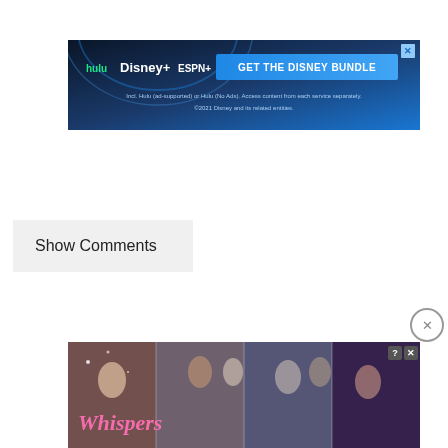[Figure (screenshot): Disney Bundle advertisement banner showing Hulu, Disney+, and ESPN+ logos with 'GET THE DISNEY BUNDLE' call to action button and small print disclaimer text. Has a close X button in the top right corner.]
Show Comments
[Figure (screenshot): Whispers app advertisement showing illustrated romantic scenes with multiple couples. The Whispers logo appears in stylized pink/orange italic text. Has a close circle button and close/question mark icons.]